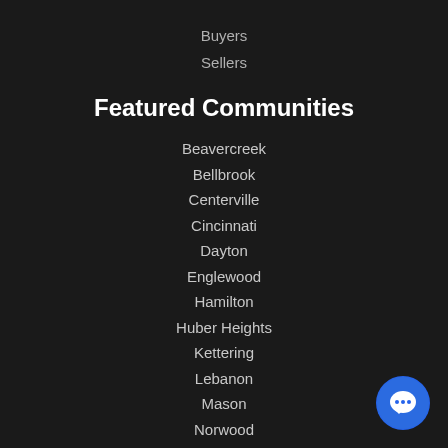Buyers
Sellers
Featured Communities
Beavercreek
Bellbrook
Centerville
Cincinnati
Dayton
Englewood
Hamilton
Huber Heights
Kettering
Lebanon
Mason
Norwood
[Figure (illustration): Blue circular chat/support button icon in the bottom-right corner]